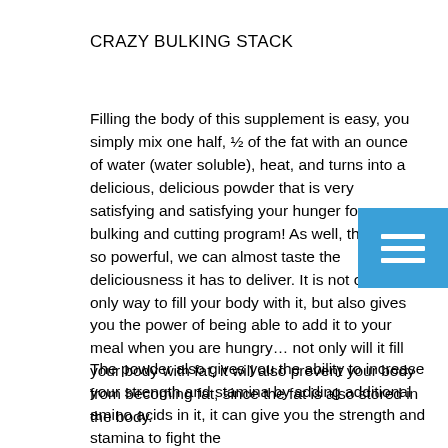CRAZY BULKING STACK
Filling the body of this supplement is easy, you simply mix one half, ½ of the fat with an ounce of water (water soluble), heat, and turns into a delicious, delicious powder that is very satisfying and satisfying your hunger for more, bulking and cutting program! As well, the fat is so powerful, we can almost taste the deliciousness it has to deliver. It is not only the only way to fill your body with it, but also gives you the power of being able to add it to your meal when you are hungry… not only will it fill your body with fat, it will also prevent your body from becoming fat, since the fat is also stored in the body.
[Figure (other): Blue square icon with three white horizontal lines (hamburger/menu icon)]
The powder also gives you the ability to increase your strength and stamina by adding additional amino acids in it, it can give you the strength and stamina to fight the